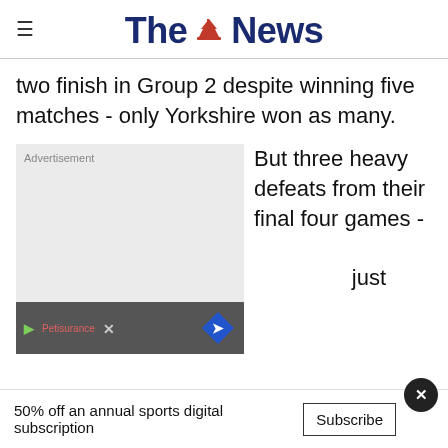The News
two finish in Group 2 despite winning five matches - only Yorkshire won as many.
[Figure (other): Advertisement placeholder box with grey background, label 'Advertisement', and a bottom bar with brand icons and a blue diamond navigation icon.]
But three heavy defeats from their final four games - just
50% off an annual sports digital subscription  Subscribe